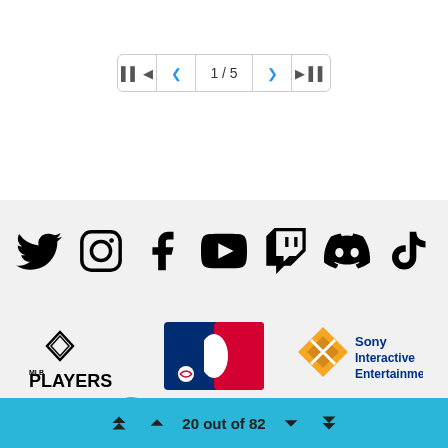[Figure (screenshot): Pagination control bar showing 1/5 with navigation arrows]
[Figure (screenshot): Row of social media icons: Twitter, Instagram, Facebook, YouTube, Twitch, Discord, TikTok]
[Figure (screenshot): Sponsor logos: MLB Players, MLB, Sony Interactive Entertainment]
[Figure (screenshot): Partial logos row and rating badges: EVERYONE, PRIVACY CERTIFIED]
20 out of 82